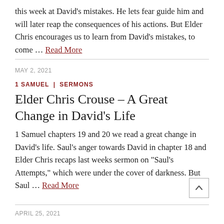this week at David’s mistakes. He lets fear guide him and will later reap the consequences of his actions. But Elder Chris encourages us to learn from David’s mistakes, to come … Read More
MAY 2, 2021
1 SAMUEL | SERMONS
Elder Chris Crouse – A Great Change in David’s Life
1 Samuel chapters 19 and 20 we read a great change in David’s life. Saul’s anger towards David in chapter 18 and Elder Chris recaps last weeks sermon on “Saul’s Attempts,” which were under the cover of darkness. But Saul … Read More
APRIL 25, 2021